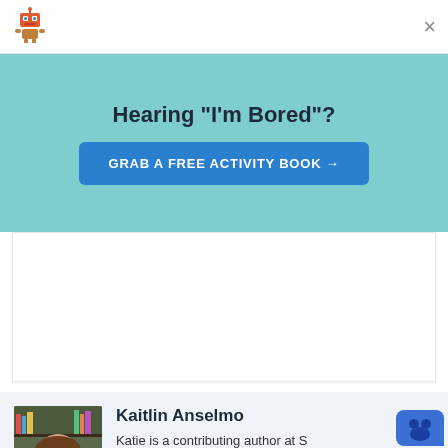[Figure (logo): Robot mascot icon in top left corner]
×
Hearing "I'm Bored"?
GRAB A FREE ACTIVITY BOOK →
[Figure (other): White rectangular content/ad area]
[Figure (photo): Photo of Kaitlin Anselmo, a woman with long brown hair, smiling, with bookshelves in background]
Kaitlin Anselmo
Katie is a contributing author at S